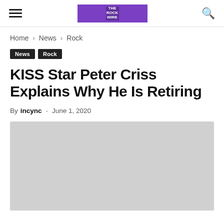[hamburger menu] [logo] [search icon]
Home › News › Rock
News
Rock
KISS Star Peter Criss Explains Why He Is Retiring
By incync - June 1, 2020
[Figure (photo): Large placeholder image area below the byline]